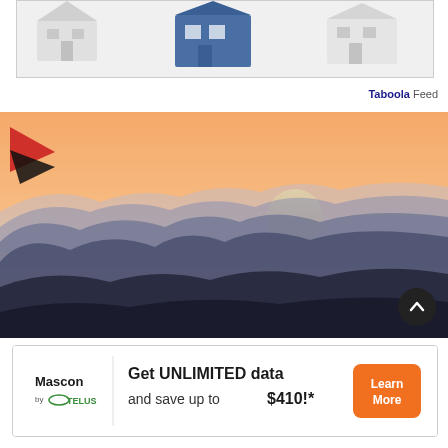[Figure (photo): 3D render of white house models with one blue house in the center, on a white surface, partially visible at the top of the page]
Taboola Feed
[Figure (photo): Landscape photo of layered mountain silhouettes at sunset with an orange-pink sky and a setting sun, with a red and black logo in the top-left corner]
[Figure (photo): Advertisement banner for Mascon by TELUS: 'Get UNLIMITED data and save up to $410!*' with Learn More button in orange, Mascon logo on the left]